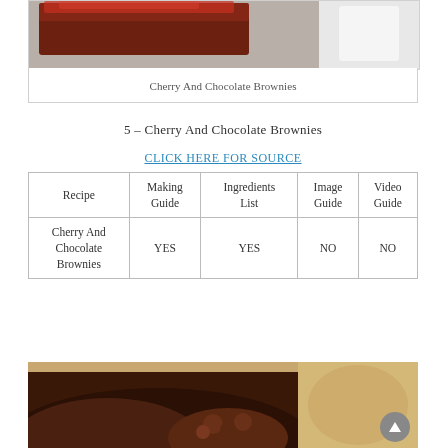[Figure (photo): Close-up photo of Cherry And Chocolate Brownies, showing dark chocolate brownie with red cherry topping at top of frame, with white plate visible on right]
Cherry And Chocolate Brownies
5 – Cherry And Chocolate Brownies
CLICK HERE FOR SOURCE
| Recipe | Making Guide | Ingredients List | Image Guide | Video Guide |
| --- | --- | --- | --- | --- |
| Cherry And Chocolate Brownies | YES | YES | NO | NO |
[Figure (photo): Close-up macro photo of dark chocolate brownie with chocolate chips, showing rich dark chocolate texture against a light beige background]